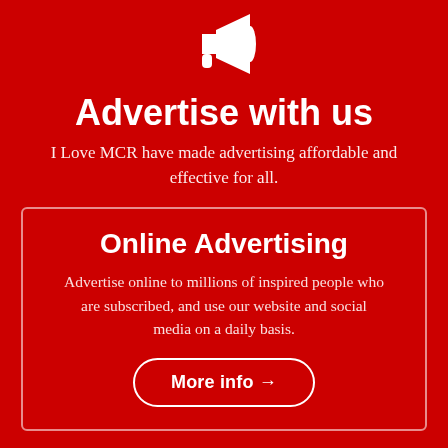[Figure (illustration): White megaphone/loudspeaker icon on red background]
Advertise with us
I Love MCR have made advertising affordable and effective for all.
Online Advertising
Advertise online to millions of inspired people who are subscribed, and use our website and social media on a daily basis.
More info →